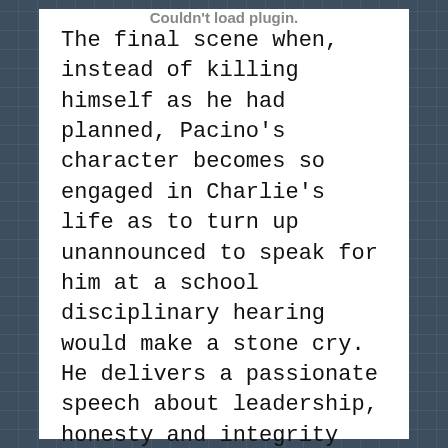[Figure (other): Plugin failed to load area — blank white space with 'Couldn't load plugin.' message centered]
The final scene when, instead of killing himself as he had planned, Pacino's character becomes so engaged in Charlie's life as to turn up unannounced to speak for him at a school disciplinary hearing would make a stone cry. He delivers a passionate speech about leadership, honesty and integrity that, if I had the Left's approach to education as propaganda, I would want in the national curriculum. I am happy it is safely embedded in "just a movie", where people may happen